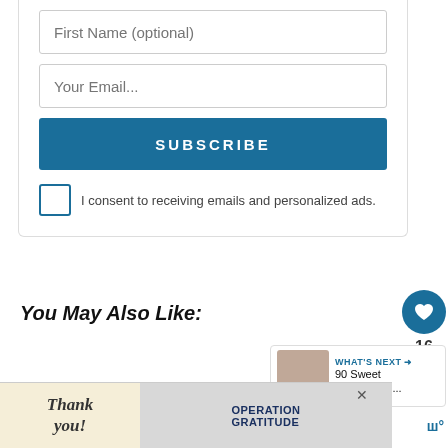[Figure (screenshot): Email subscription form with First Name (optional) input field, Your Email... input field, SUBSCRIBE button in dark blue, and consent checkbox with text 'I consent to receiving emails and personalized ads.']
[Figure (infographic): Heart icon button (teal circle) with like count 16 below it, and a share icon button below that]
You May Also Like:
[Figure (screenshot): WHAT'S NEXT widget showing thumbnail image and text '90 Sweet Good Morni...']
90 Sweet Good Morning Messages for Her to Put
[Figure (screenshot): Advertisement banner: 'Thank you!' with patriotic pencil illustration on left, Operation Gratitude logo with nurses on right, close X button]